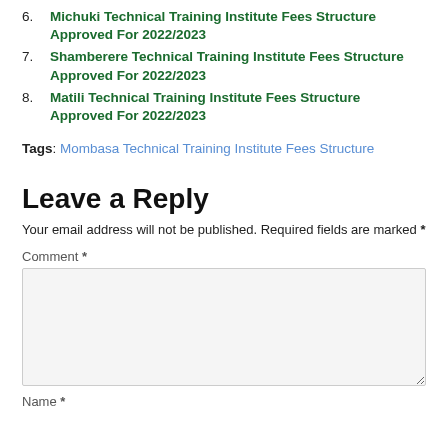6. Michuki Technical Training Institute Fees Structure Approved For 2022/2023
7. Shamberere Technical Training Institute Fees Structure Approved For 2022/2023
8. Matili Technical Training Institute Fees Structure Approved For 2022/2023
Tags: Mombasa Technical Training Institute Fees Structure
Leave a Reply
Your email address will not be published. Required fields are marked *
Comment *
Name *